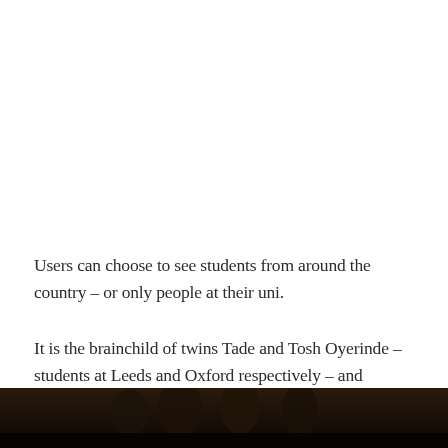Users can choose to see students from around the country – or only people at their uni.
It is the brainchild of twins Tade and Tosh Oyerinde – students at Leeds and Oxford respectively – and Patrick Molgaard, also a Leeds student.
[Figure (photo): Dark photo strip at the bottom of the page showing people, mostly in shadow]